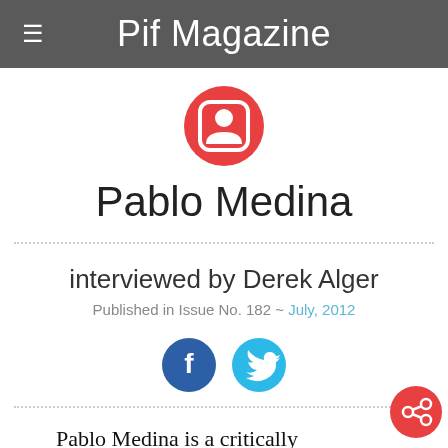Pif Magazine
[Figure (illustration): Red circle with a white person/contact silhouette icon inside a rounded square, representing an avatar placeholder]
Pablo Medina
interviewed by Derek Alger
Published in Issue No. 182 ~ July, 2012
[Figure (other): Facebook and Twitter social share icons (blue circles with white f and bird logos)]
Pablo Medina is a critically acclaimed poet and novelist whose most recent novel, Cubop City Blues, was published earlier this year by Grove